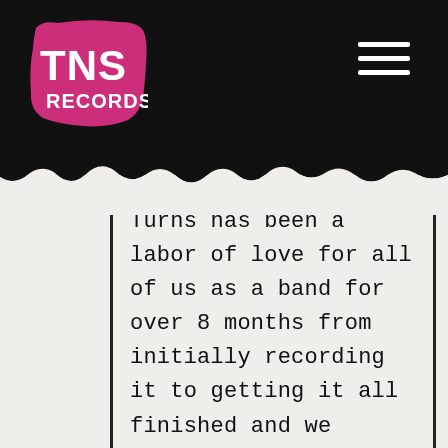[Figure (logo): TNS Records logo — pink/magenta rough painted rectangle with white bold text 'TNS' large and 'RECORDS' below, on black background header]
Turns has been a labor of love for all of us as a band for over 8 months from initially recording it to getting it all finished and we couldn't be happier with what we managed to achieve. This album offers a few party tunes to get you in the mood for drinking with your mates but it also offers so much more with us having written about our experiences in the Calais Jungle